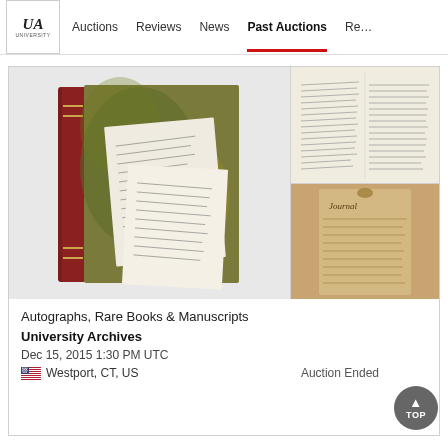UA University Archives | Auctions | Reviews | News | Past Auctions | Re...
[Figure (photo): Large image of a dark red leather-bound book with handwritten letters/notes displayed in front of it. Two smaller images on the right side: top shows an open handwritten letter/manuscript, bottom shows an aged handwritten document labeled 'Journal'.]
Autographs, Rare Books & Manuscripts
University Archives
Dec 15, 2015 1:30 PM UTC
Westport, CT, US
Auction Ended